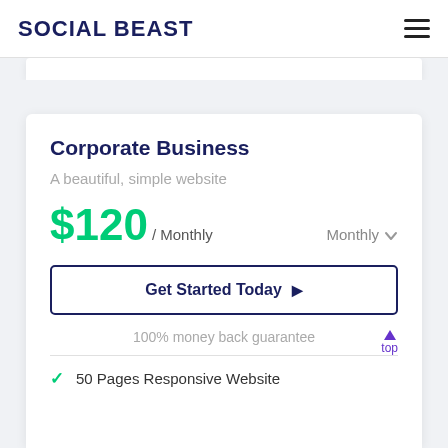SOCIAL BEAST
Corporate Business
A beautiful, simple website
$120 / Monthly  Monthly
Get Started Today ▶
100% money back guarantee
50 Pages Responsive Website